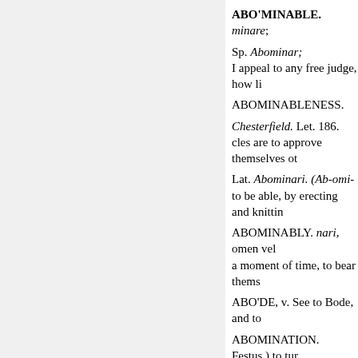ABO'MINABLE. minare;
Sp. Abominar;
I appeal to any free judge, how li
ABOMINABLENESS.
Chesterfield. Let. 186.
cles are to approve themselves ot
Lat. Abominari. (Ab-omi-
to be able, by erecting and knittin
ABOMINABLY. nari, omen vel
a moment of time, to bear thems
ABO'DE, v. See to Bode, and to
ABOMINATION. Festus,) to tur
contention of strength to cause a
Abo'dance. BODE.
ABO'MINER.
a bad omen.
Malum oment
of the spirits into this or tha